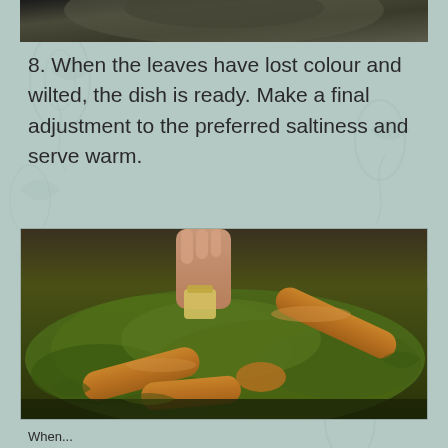[Figure (photo): Top portion of a photo showing a dark cooking pan with food, partially cropped at the top of the page]
8. When the leaves have lost colour and wilted, the dish is ready. Make a final adjustment to the preferred saltiness and serve warm.
[Figure (photo): A close-up photo of a dark cooking pan containing wilted green leaves (cabbage/greens) and sausages being cooked, with a hand visible adding seasoning from above]
When...